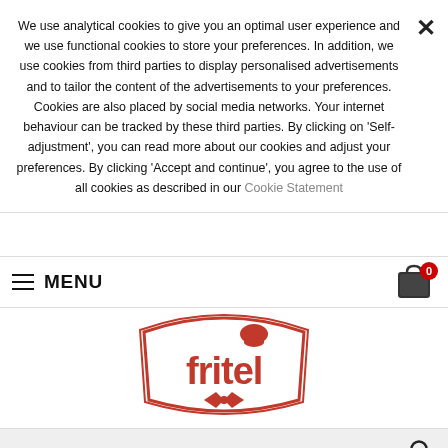We use analytical cookies to give you an optimal user experience and we use functional cookies to store your preferences. In addition, we use cookies from third parties to display personalised advertisements and to tailor the content of the advertisements to your preferences. Cookies are also placed by social media networks. Your internet behaviour can be tracked by these third parties. By clicking on ‘Self-adjustment’, you can read more about our cookies and adjust your preferences. By clicking ‘Accept and continue’, you agree to the use of all cookies as described in our Cookie Statement
MENU
[Figure (logo): Fritel brand logo in red with chef hat graphic]
Search bar
⌂ » Producten » All cutter SL 3855 TWIN